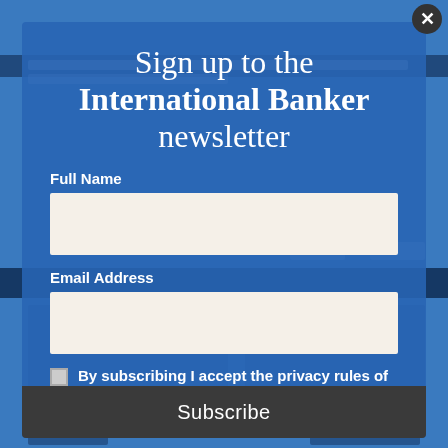[Figure (screenshot): Blurred background of International Banker website with blue overlay, showing article thumbnails and navigation elements]
Sign up to the International Banker newsletter
Full Name
Email Address
By subscribing I accept the privacy rules of this site
Subscribe